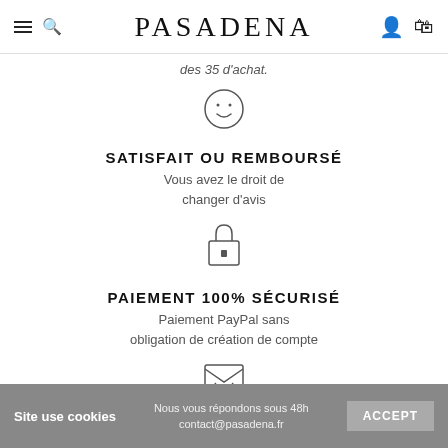PASADENA
des 35 d'achat.
[Figure (illustration): Smiley face circle icon]
SATISFAIT OU REMBOURSÉ
Vous avez le droit de changer d'avis
[Figure (illustration): Padlock / lock icon]
PAIEMENT 100% SÉCURISÉ
Paiement PayPal sans obligation de création de compte
[Figure (illustration): Envelope / mail icon]
UNE QUESTION
Site use cookies  Nous vous répondons sous 48h contact@pasadena.fr  ACCEPT